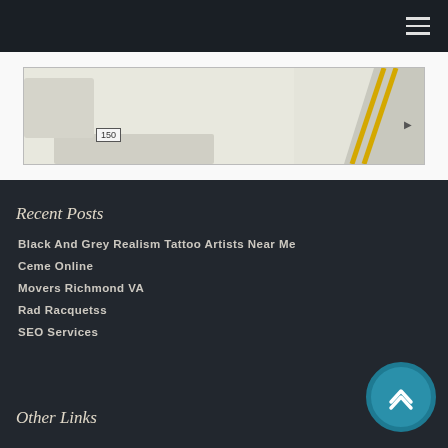Navigation menu header with hamburger icon
[Figure (map): Partial street map showing road marker 150 and diagonal yellow road lines in top-right corner]
Recent Posts
Black And Grey Realism Tattoo Artists Near Me
Ceme Online
Movers Richmond VA
Rad Racquetss
SEO Services
Other Links